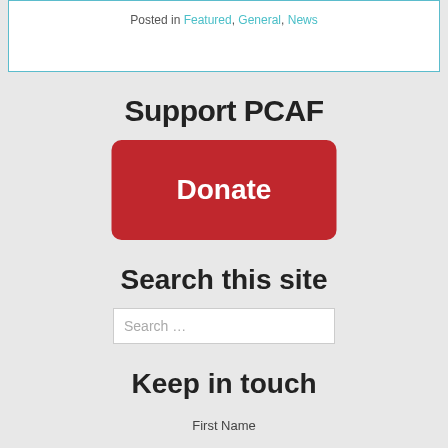Posted in Featured, General, News
Support PCAF
[Figure (other): Red donate button with white bold text 'Donate' on a rounded rectangle]
Search this site
Search …
Keep in touch
First Name